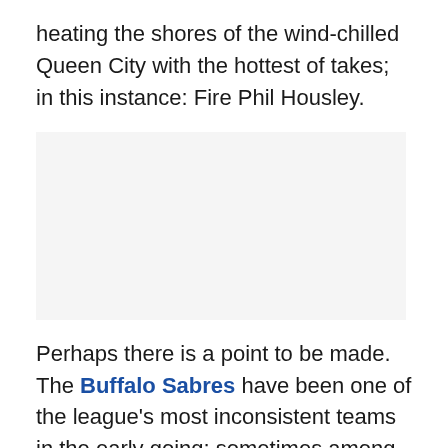heating the shores of the wind-chilled Queen City with the hottest of takes; in this instance: Fire Phil Housley.
[Figure (photo): Blank/white image placeholder area in the middle of the article page.]
Perhaps there is a point to be made. The Buffalo Sabres have been one of the league's most inconsistent teams in the early going; sometimes among the NHL's biggest surprises and sometimes